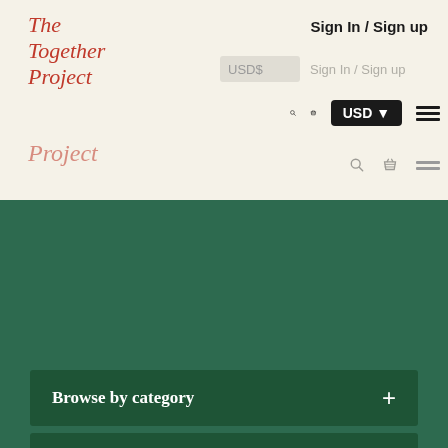The Together Project
Sign In / Sign up
SUSTAINABILITY
Our Marketplace
Browse by category
Browse by theme